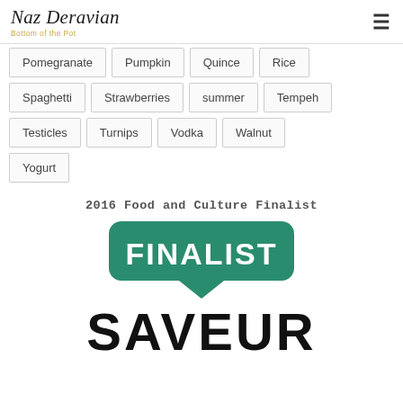Naz Deravian — Bottom of the Pot
Pomegranate
Pumpkin
Quince
Rice
Spaghetti
Strawberries
summer
Tempeh
Testicles
Turnips
Vodka
Walnut
Yogurt
2016 Food and Culture Finalist
[Figure (logo): Green speech-bubble badge with white bold text reading FINALIST]
SAVEUR